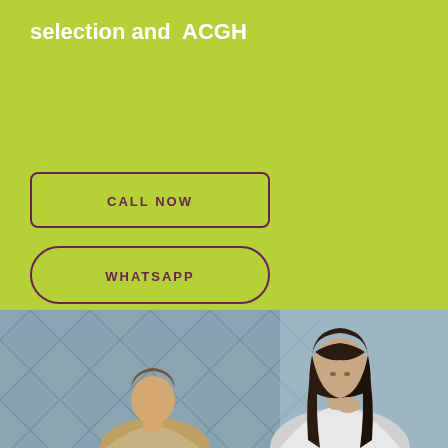selection and ACGH
CALL NOW
WHATSAPP
[Figure (photo): Two women, one with dark hair looking down, another partially visible, against a blue geometric diamond-patterned wall background]